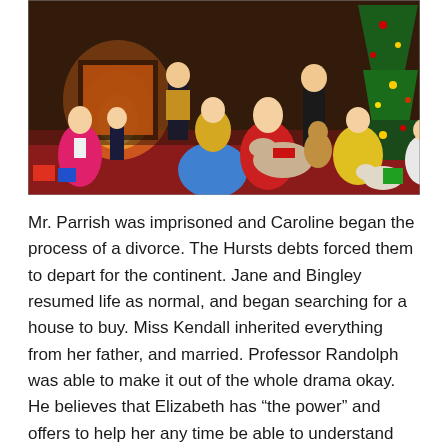[Figure (illustration): A colorful Victorian-era Christmas scene painting showing a large family gathered together. Children in period dress, adults, a fireplace, a Christmas tree decorated with ornaments, wrapped gifts, toys including a rocking horse and teddy bear, and dogs are all visible. The painting uses rich, warm colors with reds, blues, yellows and greens.]
Mr. Parrish was imprisoned and Caroline began the process of a divorce. The Hursts debts forced them to depart for the continent. Jane and Bingley resumed life as normal, and began searching for a house to buy. Miss Kendall inherited everything from her father, and married. Professor Randolph was able to make it out of the whole drama okay. He believes that Elizabeth has “the power” and offers to help her any time be able to understand and control her gift.